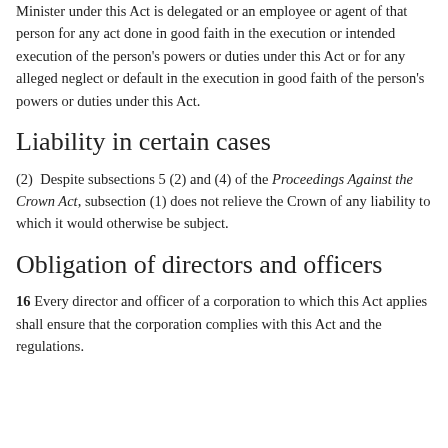Minister under this Act is delegated or an employee or agent of that person for any act done in good faith in the execution or intended execution of the person's powers or duties under this Act or for any alleged neglect or default in the execution in good faith of the person's powers or duties under this Act.
Liability in certain cases
(2)  Despite subsections 5 (2) and (4) of the Proceedings Against the Crown Act, subsection (1) does not relieve the Crown of any liability to which it would otherwise be subject.
Obligation of directors and officers
16 Every director and officer of a corporation to which this Act applies shall ensure that the corporation complies with this Act and the regulations.